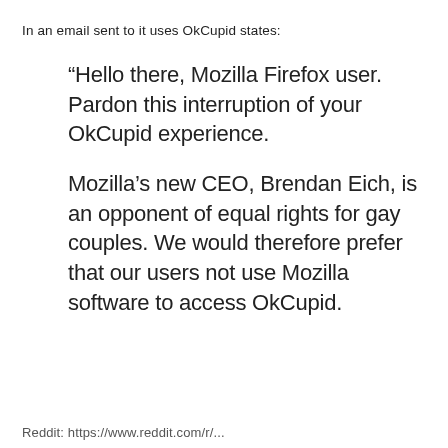In an email sent to it uses OkCupid states:
“Hello there, Mozilla Firefox user. Pardon this interruption of your OkCupid experience.

Mozilla’s new CEO, Brendan Eich, is an opponent of equal rights for gay couples. We would therefore prefer that our users not use Mozilla software to access OkCupid.
Reddit: https://www.reddit.com/r/...